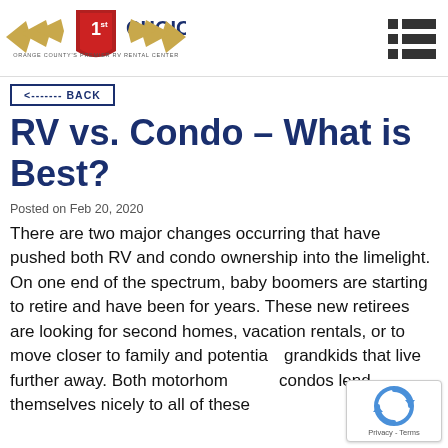[Figure (logo): 1st Choice RV logo with wings and shield, subtitle: Orange County's Premier RV Rental Center]
[Figure (other): Hamburger/menu icon (three rows of square + bar)]
<------- BACK
RV vs. Condo – What is Best?
Posted on Feb 20, 2020
There are two major changes occurring that have pushed both RV and condo ownership into the limelight. On one end of the spectrum, baby boomers are starting to retire and have been for years. These new retirees are looking for second homes, vacation rentals, or to move closer to family and potentially grandkids that live further away. Both motorhomes and condos lend themselves nicely to all of these
[Figure (other): Google reCAPTCHA badge with circular arrows icon and Privacy - Terms text]